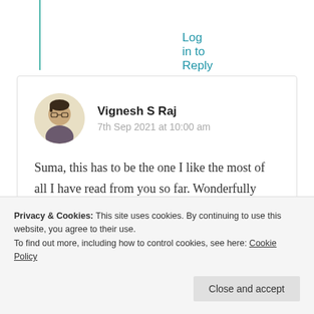Log in to Reply
Vignesh S Raj
7th Sep 2021 at 10:00 am
Suma, this has to be the one I like the most of all I have read from you so far. Wonderfully written. The love, the pain, the hope, you have captured them beautifully.
Privacy & Cookies: This site uses cookies. By continuing to use this website, you agree to their use.
To find out more, including how to control cookies, see here: Cookie Policy
Close and accept